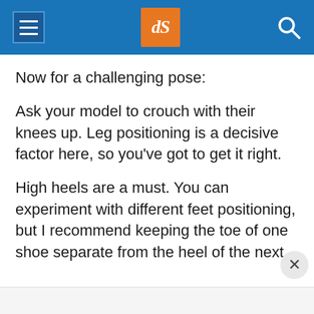dPS (logo) navigation header
Now for a challenging pose:
Ask your model to crouch with their knees up. Leg positioning is a decisive factor here, so you’ve got to get it right.
High heels are a must. You can experiment with different feet positioning, but I recommend keeping the toe of one shoe separate from the heel of the next.